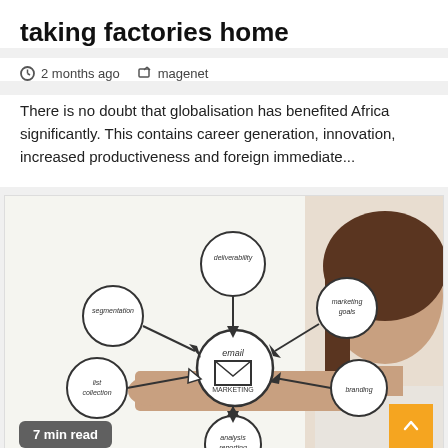taking factories home
2 months ago   magenet
There is no doubt that globalisation has benefited Africa significantly. This contains career generation, innovation, increased productiveness and foreign immediate...
[Figure (photo): A woman writing an email marketing mind map diagram on a transparent surface, showing connected circles with labels: deliverability, segmentation, marketing goals, branding, list collection, analysis, reporting, with an email icon in the center. A '7 min read' badge appears in the bottom left.]